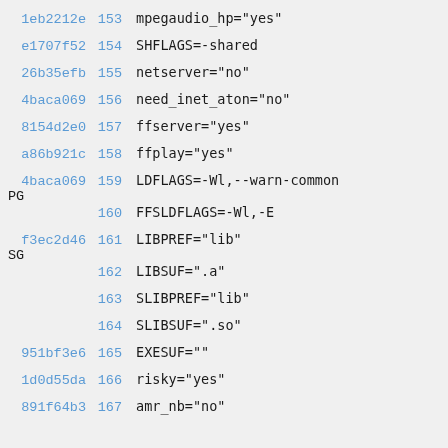1eb2212e 153 mpegaudio_hp="yes"
e1707f52 154 SHFLAGS=-shared
26b35efb 155 netserver="no"
4baca069 156 need_inet_aton="no"
8154d2e0 157 ffserver="yes"
a86b921c 158 ffplay="yes"
4baca069 159 LDFLAGS=-Wl,--warn-common PG
160 FFSLDFLAGS=-Wl,-E
f3ec2d46 161 LIBPREF="lib" SG
162 LIBSUF=".a"
163 SLIBPREF="lib"
164 SLIBSUF=".so"
951bf3e6 165 EXESUF=""
1d0d55da 166 risky="yes"
891f64b3 167 amr_nb="no"